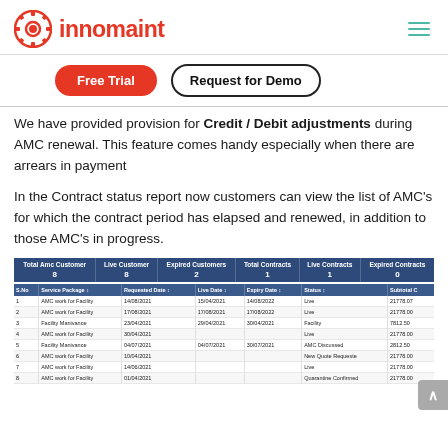innomaint
Free Trial | Request for Demo
We have provided provision for Credit / Debit adjustments during AMC renewal. This feature comes handy especially when there are arrears in payment
In the Contract status report now customers can view the list of AMC's for which the contract period has elapsed and renewed, in addition to those AMC's in progress.
| Total Amc Customer | Live Customer | Expired Customers | Total Contracts | Live Contracts | Expired Contracts |
| --- | --- | --- | --- | --- | --- |
| 8 | 8 | 2 | 1 | 1 | 0 |